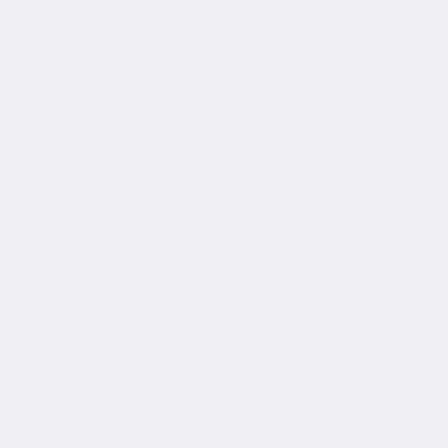According to Haridas Das, a brief account of his life is given in chapter 13 of Bhakta... he neglects to mention which Bhak... there two Vishnu Puris?
Here is S.K. De's note on the matter... 18-19 of Vaishnava Faith and Move...
"The colophon to the Dacca Univer... manuscripts of the text, with its con... Kantimala, which we have consulte...
[l]iti zré-puruSottama-caraNAravi... makaranda-bindu-pronmIlita-viveka... paramahaMsa-zrl-viSNu-purl-grath... bhAgavatAmRtAbdhi-labdha-zrl-bh... kAntimAlA samAptA[/l].
Apparently Purusottama was his gu... Jayadhvaja. [Comment: There is no... interpret "puruSottama" as a perso... just as likely to be Jagannath, mea... lived in Puri. Jayadhvaja is the nam... according to GGD.]
An edition of the text with English tr... been published in the Sacred Book... Hindus Series, Allahabad, 1912.
MSS noticed in Aufrecht's Bodleian...